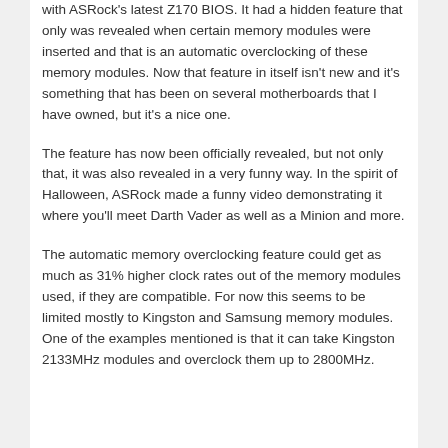with ASRock's latest Z170 BIOS. It had a hidden feature that only was revealed when certain memory modules were inserted and that is an automatic overclocking of these memory modules. Now that feature in itself isn't new and it's something that has been on several motherboards that I have owned, but it's a nice one.
The feature has now been officially revealed, but not only that, it was also revealed in a very funny way. In the spirit of Halloween, ASRock made a funny video demonstrating it where you'll meet Darth Vader as well as a Minion and more.
The automatic memory overclocking feature could get as much as 31% higher clock rates out of the memory modules used, if they are compatible. For now this seems to be limited mostly to Kingston and Samsung memory modules. One of the examples mentioned is that it can take Kingston 2133MHz modules and overclock them up to 2800MHz.